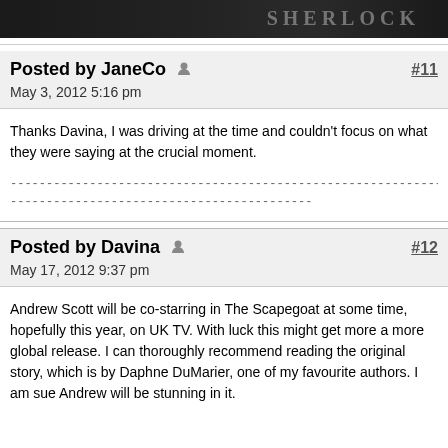[Figure (photo): Dark promotional image for Sherlock with text 'SHERLOCK' visible]
Posted by JaneCo  #11
May 3, 2012 5:16 pm
Thanks Davina, I was driving at the time and couldn't focus on what they were saying at the crucial moment.
Posted by Davina  #12
May 17, 2012 9:37 pm
Andrew Scott will be co-starring in The Scapegoat at some time, hopefully this year, on UK TV. With luck this might get more a more global release. I can thoroughly recommend reading the original story, which is by Daphne DuMarier, one of my favourite authors. I am sue Andrew will be stunning in it.